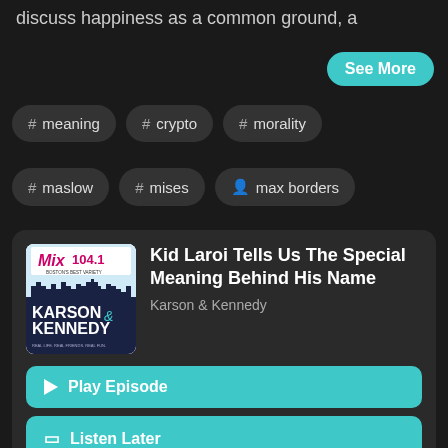discuss happiness as a common ground, a
See More
# meaning
# crypto
# morality
# maslow
# mises
max borders
Kid Laroi Tells Us The Special Meaning Behind His Name
Karson & Kennedy
Play Episode
Listen Later
Aug 15, 2022
5:07